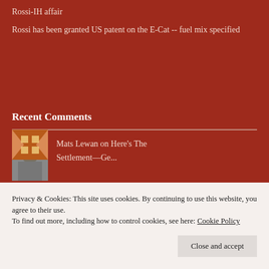Rossi-IH affair
Rossi has been granted US patent on the E-Cat -- fuel mix specified
Recent Comments
Mats Lewan on Here's The Settlement—Ge...
The E-Cat Spheromak... on Rossi's engineer:...
[Figure (photo): Thumbnail avatar of Mats Lewan, a man with beard]
[Figure (illustration): Green and white geometric avatar icon]
Manohar KG on Here's The
[Figure (illustration): Geometric pattern avatar icon, orange/dark tones]
Privacy & Cookies: This site uses cookies. By continuing to use this website, you agree to their use.
To find out more, including how to control cookies, see here: Cookie Policy
Close and accept